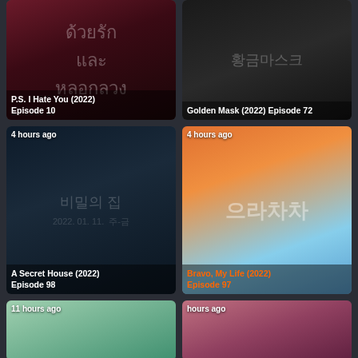[Figure (photo): P.S. I Hate You (2022) Episode 10 - Thai drama poster with women in elegant dresses]
P.S. I Hate You (2022) Episode 10
[Figure (photo): Golden Mask (2022) Episode 72 - Korean drama poster with two women]
Golden Mask (2022) Episode 72
[Figure (photo): A Secret House (2022) Episode 98 - Korean drama with dark thriller aesthetic, 4 hours ago]
4 hours ago
A Secret House (2022) Episode 98
[Figure (photo): Bravo, My Life (2022) Episode 97 - Korean drama with young cast, 4 hours ago]
4 hours ago
Bravo, My Life (2022) Episode 97
[Figure (photo): Partially visible drama poster - 11 hours ago]
[Figure (photo): Partially visible drama poster - hours ago]